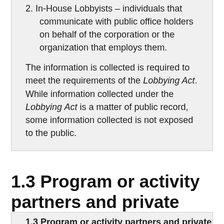2. In-House Lobbyists – individuals that communicate with public office holders on behalf of the corporation or the organization that employs them.
The information is collected is required to meet the requirements of the Lobbying Act. While information collected under the Lobbying Act is a matter of public record, some information collected is not exposed to the public.
1.3 Program or activity partners and private sector involvement
1.3 Program or activity partners and private